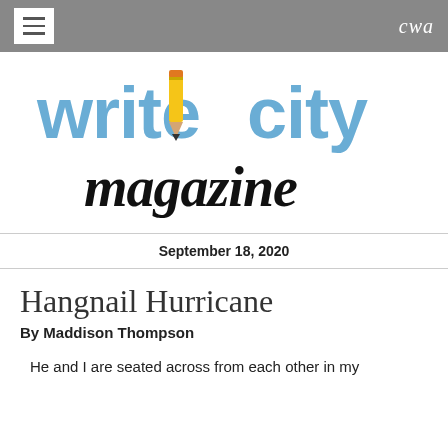cwa
[Figure (logo): Write City Magazine logo — 'write city' in blue sans-serif with a pencil replacing the 'i', and 'magazine' in black handwritten script below]
September 18, 2020
Hangnail Hurricane
By Maddison Thompson
He and I are seated across from each other in my